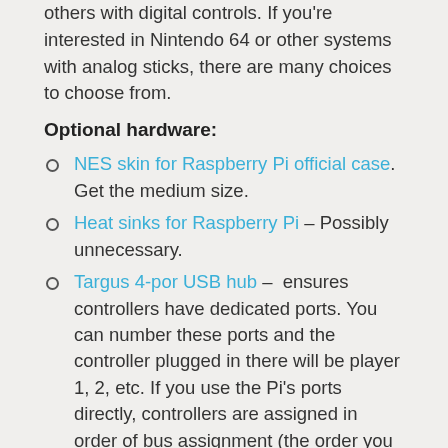others with digital controls. If you're interested in Nintendo 64 or other systems with analog sticks, there are many choices to choose from.
Optional hardware:
NES skin for Raspberry Pi official case. Get the medium size.
Heat sinks for Raspberry Pi – Possibly unnecessary.
Targus 4-por USB hub – ensures controllers have dedicated ports. You can number these ports and the controller plugged in there will be player 1, 2, etc. If you use the Pi's ports directly, controllers are assigned in order of bus assignment (the order you plug them in, but not always).
Desktop USB 2.0 extension – Weighted, so you